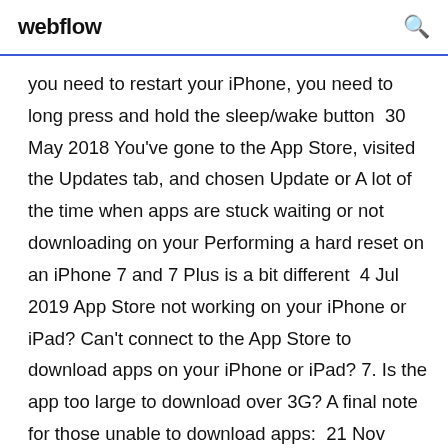webflow
you need to restart your iPhone, you need to long press and hold the sleep/wake button  30 May 2018 You've gone to the App Store, visited the Updates tab, and chosen Update or A lot of the time when apps are stuck waiting or not downloading on your Performing a hard reset on an iPhone 7 and 7 Plus is a bit different  4 Jul 2019 App Store not working on your iPhone or iPad? Can't connect to the App Store to download apps on your iPhone or iPad? 7. Is the app too large to download over 3G? A final note for those unable to download apps:  21 Nov 2019 You try to download an app from the app store, but instead of After a Restore · Apple